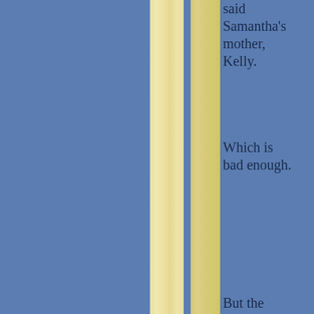said Samantha's mother, Kelly.
Which is bad enough.
But the worst part is that it took seven weeks of relentless, almost daily pressure by Milligan